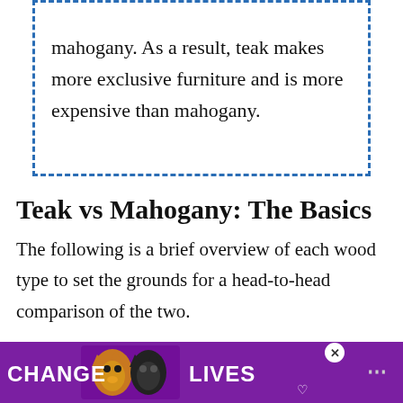mahogany. As a result, teak makes more exclusive furniture and is more expensive than mahogany.
Teak vs Mahogany: The Basics
The following is a brief overview of each wood type to set the grounds for a head-to-head comparison of the two.
What's Teak Wood?
O
[Figure (photo): Advertisement banner with purple background showing two cats and text 'CHANGE LIVES' with a close button and menu dots]